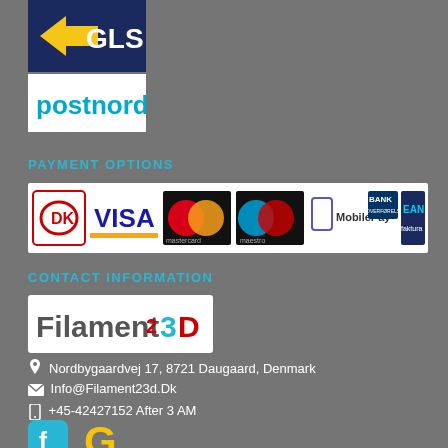[Figure (logo): GLS shipping logo - yellow arrow with GLS text on dark blue background]
[Figure (logo): PostNord logo - cyan/blue text on white background]
PAYMENT OPTIONS
[Figure (infographic): Payment options banner showing: Dankort (DK logo), VISA, Mastercard, Maestro, MobilePay, BANK OVERFØRELSE, EAN faktura]
CONTACT INFORMATION
[Figure (logo): Filament23D logo with colorful text on white background]
Nordbygaardvej 17, 8721 Daugaard, Denmark
Info@Filament23d.Dk
+45-42427152  After 3 AM
[Figure (logo): Facebook and Google social media icons]